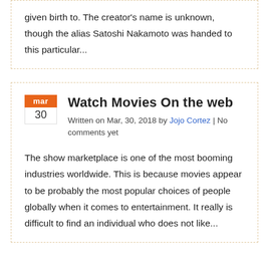given birth to. The creator's name is unknown, though the alias Satoshi Nakamoto was handed to this particular...
Watch Movies On the web
Written on Mar, 30, 2018 by Jojo Cortez | No comments yet
The show marketplace is one of the most booming industries worldwide. This is because movies appear to be probably the most popular choices of people globally when it comes to entertainment. It really is difficult to find an individual who does not like...